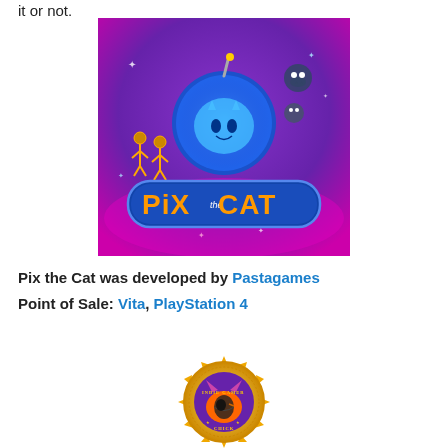it or not.
[Figure (illustration): Pix the Cat game logo on a purple/magenta gradient background with cartoon characters and the text 'Pix the Cat']
Pix the Cat was developed by Pastagames Point of Sale: Vita, PlayStation 4
[Figure (logo): Indie Gamer Chick badge/seal — gold sunburst seal with a cartoon cat face and text 'INDIE GAMER CHICK']